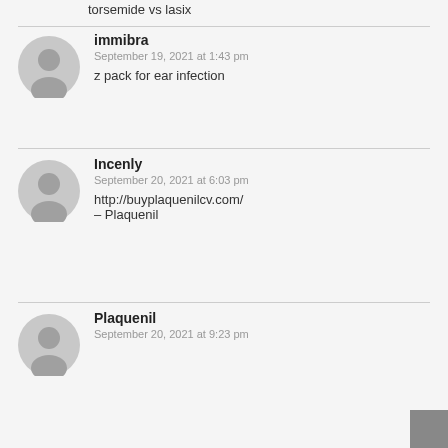torsemide vs lasix
immibra
September 19, 2021 at 1:43 pm
z pack for ear infection
Incenly
September 20, 2021 at 6:03 pm
http://buyplaquenilcv.com/
– Plaquenil
Plaquenil
September 20, 2021 at 9:23 pm